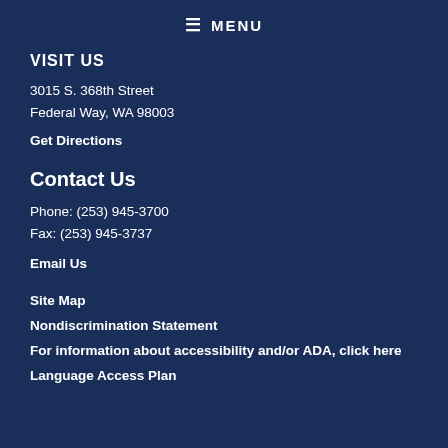≡ MENU
VISIT US
3015 S. 368th Street
Federal Way, WA 98003
Get Directions
Contact Us
Phone: (253) 945-3700
Fax: (253) 945-3737
Email Us
Site Map
Nondiscrimination Statement
For information about accessibility and/or ADA, click here
Language Access Plan